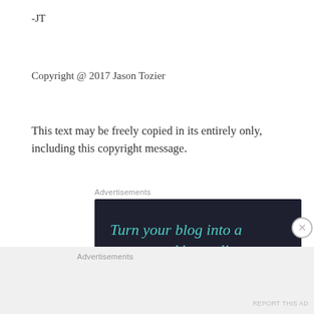-JT
Copyright @ 2017 Jason Tozier
This text may be freely copied in its entirely only, including this copyright message.
Advertisements
[Figure (illustration): Advertisement banner with dark background showing text 'Turn your blog into a money-making online course.' with a teal 'Learn More' button]
Advertisements